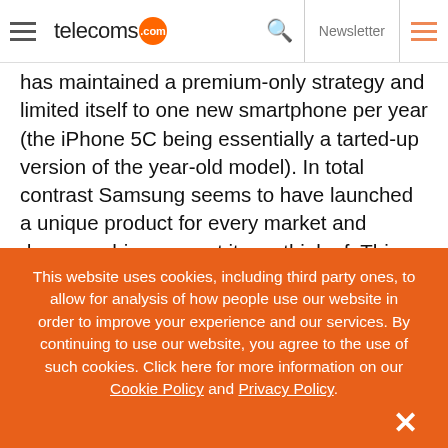telecoms.com | Newsletter
has maintained a premium-only strategy and limited itself to one new smartphone per year (the iPhone 5C being essentially a tarted-up version of the year-old model). In total contrast Samsung seems to have launched a unique product for every market and demographic segment it can think of. This means that, while the Galaxy S phones don't necessarily out-sell the iPhones, Samsung's total smartphone portfolio ships more than double that of Apple.
This website uses cookies, including third party ones, to allow for analysis of how people use our website in order to improve your experience and our services. By continuing to use our website, you agree to the use of such cookies. Click here for more information on our Cookie Policy and Privacy Policy.